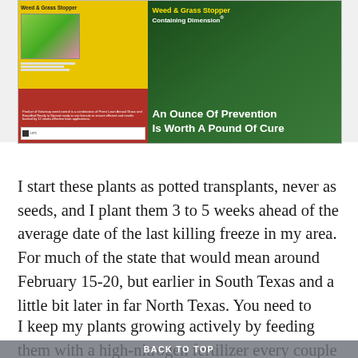[Figure (photo): Product advertisement image for Weed & Grass Stopper Containing Dimension®. Shows yellow/red product bag on the left and green lawn background on the right with white text: 'Weed & Grass Stopper Containing Dimension®' and 'An Ounce Of Prevention Is Worth A Pound Of Cure'.]
I start these plants as potted transplants, never as seeds, and I plant them 3 to 5 weeks ahead of the average date of the last killing freeze in my area. For much of the state that would mean around February 15-20, but earlier in South Texas and a little bit later in far North Texas. You need to know that average frost-free date for your county.
I keep my plants growing actively by feeding them with a high-nitrogen fertilizer every couple of weeks all the way through late summer.